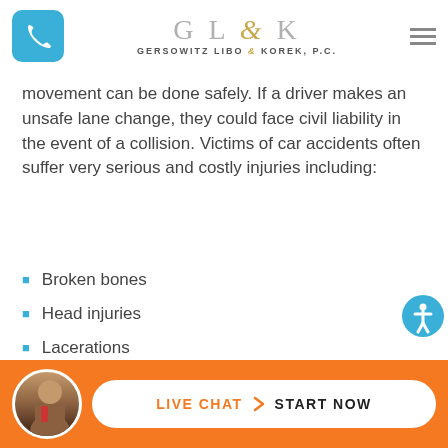[Figure (logo): GLK Gersowitz Libo & Korek P.C. law firm logo with phone button and hamburger menu]
movement can be done safely. If a driver makes an unsafe lane change, they could face civil liability in the event of a collision. Victims of car accidents often suffer very serious and costly injuries including:
Broken bones
Head injuries
Lacerations
Spinal cord injuries
Victims of car accidents are protected by a number of laws. Th... ily... he
[Figure (infographic): Live Chat - Start Now button bar with orange background and attorney photo]